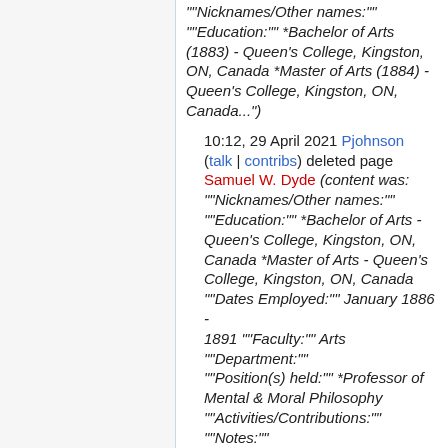""Nicknames/Other names:"" ""Education:"" *Bachelor of Arts (1883) - Queen's College, Kingston, ON, Canada *Master of Arts (1884) - Queen's College, Kingston, ON, Canada...")
10:12, 29 April 2021 Pjohnson (talk | contribs) deleted page Samuel W. Dyde (content was: ""Nicknames/Other names:"" ""Education:"" *Bachelor of Arts - Queen's College, Kingston, ON, Canada *Master of Arts - Queen's College, Kingston, ON, Canada ""Dates Employed:"" January 1886 - 1891 ""Faculty:"" Arts ""Department:"" ""Position(s) held:"" *Professor of Mental & Moral Philosophy ""Activities/Contributions:"" ""Notes:"" *Delivered the